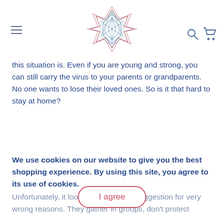[Figure (logo): Geometric multi-faceted crystal/star logo made of triangular shapes in pink and blue/teal outline style]
this situation is. Even if you are young and strong, you can still carry the virus to your parents or grandparents. No one wants to lose their loved ones. So is it that hard to stay at home?
We use cookies on our website to give you the best shopping experience. By using this site, you agree to its use of cookies.
many people don't have back garden where they can come and relax whenever they want.
I agree
Unfortunately, it looks like es this suggestion for very wrong reasons. They gather in groups, don't protect